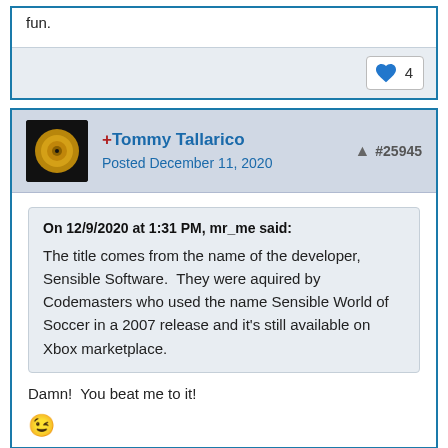fun.
4
+Tommy Tallarico
Posted December 11, 2020
#25945
On 12/9/2020 at 1:31 PM, mr_me said:
The title comes from the name of the developer, Sensible Software.  They were aquired by Codemasters who used the name Sensible World of Soccer in a 2007 release and it's still available on Xbox marketplace.
Damn!  You beat me to it!